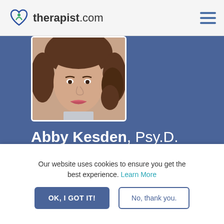therapist.com
[Figure (photo): Profile photo of Abby Kesden - partial view showing face and brown curly hair]
Abby Kesden, Psy.D.
Verified
She/Her/Hers
Psychologist
Online and Phone Sessions
Our website uses cookies to ensure you get the best experience. Learn More
OK, I GOT IT!
No, thank you.